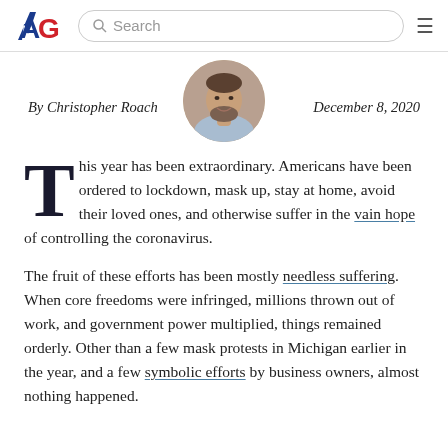AG | Search
By Christopher Roach   December 8, 2020
[Figure (photo): Circular author headshot of Christopher Roach, a middle-aged man with a beard, smiling, wearing a light blue shirt]
This year has been extraordinary. Americans have been ordered to lockdown, mask up, stay at home, avoid their loved ones, and otherwise suffer in the vain hope of controlling the coronavirus.
The fruit of these efforts has been mostly needless suffering. When core freedoms were infringed, millions thrown out of work, and government power multiplied, things remained orderly. Other than a few mask protests in Michigan earlier in the year, and a few symbolic efforts by business owners, almost nothing happened.